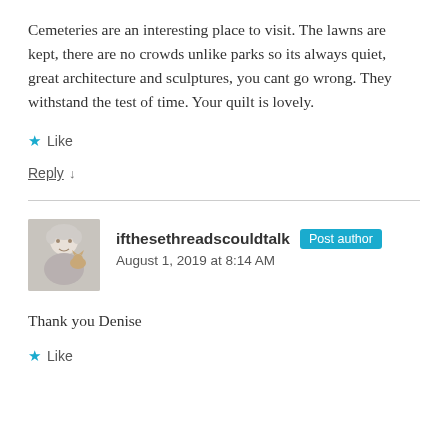Cemeteries are an interesting place to visit. The lawns are kept, there are no crowds unlike parks so its always quiet, great architecture and sculptures, you cant go wrong. They withstand the test of time. Your quilt is lovely.
★ Like
Reply ↓
ifthesethreadscouldtalk  Post author
August 1, 2019 at 8:14 AM
Thank you Denise
★ Like